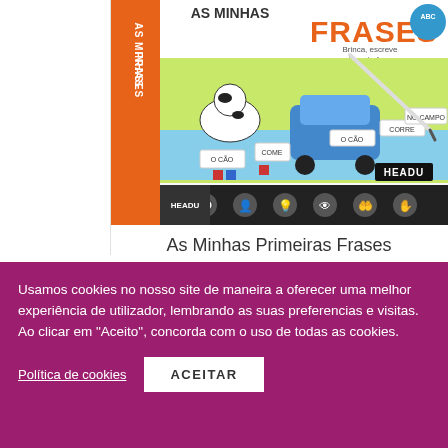[Figure (photo): Product box of 'As Minhas Primeiras Frases' educational game by HEADU, showing cartoon animals, word cards, and a stylus pen. Orange strip on left side, black icon strip at bottom, ABC badge in top right.]
As Minhas Primeiras Frases
Usamos cookies no nosso site de maneira a oferecer uma melhor experiência de utilizador, lembrando as suas preferencias e visitas. Ao clicar em "Aceito", concorda com o uso de todas as cookies.
Política de cookies
ACEITAR